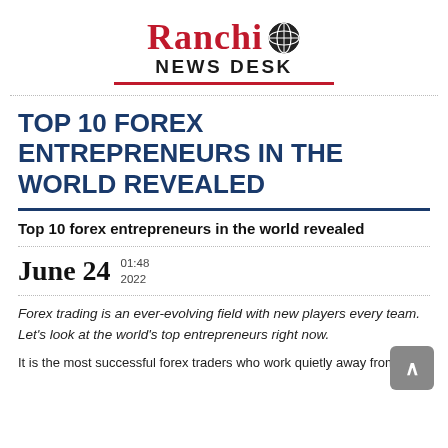[Figure (logo): Ranchi News Desk logo with globe icon, red text 'Ranchi', black bold 'NEWS DESK', red underline]
TOP 10 FOREX ENTREPRENEURS IN THE WORLD REVEALED
Top 10 forex entrepreneurs in the world revealed
June 24  01:48 2022
Forex trading is an ever-evolving field with new players every team. Let's look at the world's top entrepreneurs right now.
It is the most successful forex traders who work quietly away from the